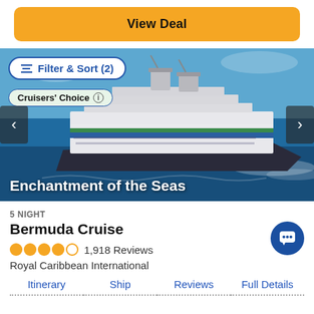View Deal
[Figure (photo): Aerial/side view of Royal Caribbean cruise ship Enchantment of the Seas sailing on blue ocean water]
Filter & Sort (2)
Cruisers' Choice
Enchantment of the Seas
5 NIGHT
Bermuda Cruise
1,918 Reviews
Royal Caribbean International
Itinerary
Ship
Reviews
Full Details